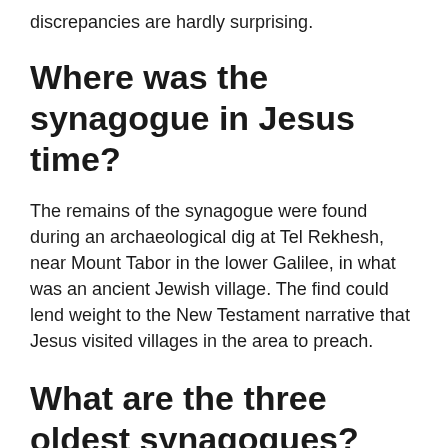discrepancies are hardly surprising.
Where was the synagogue in Jesus time?
The remains of the synagogue were found during an archaeological dig at Tel Rekhesh, near Mount Tabor in the lower Galilee, in what was an ancient Jewish village. The find could lend weight to the New Testament narrative that Jesus visited villages in the area to preach.
What are the three oldest synagogues?
Oldest existing buildings